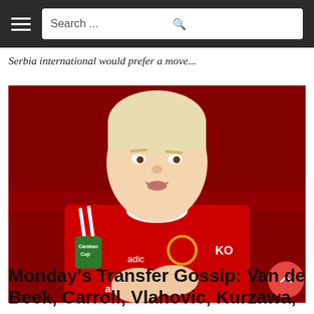Search ...
Serbia international would prefer a move...
[Figure (photo): A blond male footballer wearing a red Manchester United jersey with Carabao Cup badge and TeamViewer sponsor, applauding on the pitch.]
Monday's Transfer Gossip: Van de Beek, Carroll, Vlahovic, Kurzawa,